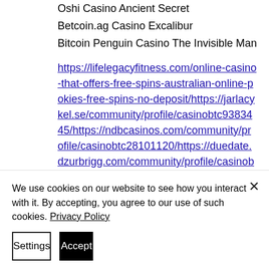Oshi Casino Ancient Secret
Betcoin.ag Casino Excalibur
Bitcoin Penguin Casino The Invisible Man
https://lifelegacyfitness.com/online-casino-that-offers-free-spins-australian-online-pokies-free-spins-no-deposit/ https://jarlacykel.se/community/profile/casinobtc9383445/ https://ndbcasinos.com/community/profile/casinobtc28101120/ https://duedate.dzurbrigg.com/community/profile/casinobtc20082974/
We use cookies on our website to see how you interact with it. By accepting, you agree to our use of such cookies. Privacy Policy
Settings | Accept